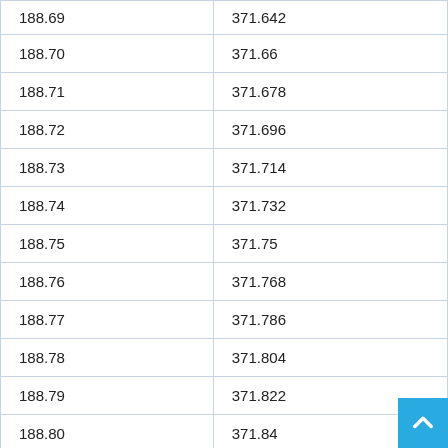| 188.69 | 371.642 |
| 188.70 | 371.66 |
| 188.71 | 371.678 |
| 188.72 | 371.696 |
| 188.73 | 371.714 |
| 188.74 | 371.732 |
| 188.75 | 371.75 |
| 188.76 | 371.768 |
| 188.77 | 371.786 |
| 188.78 | 371.804 |
| 188.79 | 371.822 |
| 188.80 | 371.84 |
| 188.81 | 371.858 |
| 188.82 | 371.876 |
| 188.83 | 371.894 |
| 188.84 | 371.912 |